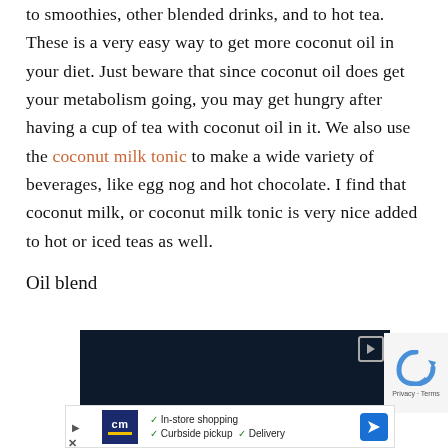You can also add it to beverages. You can add it to smoothies, other blended drinks, and to hot tea. These is a very easy way to get more coconut oil in your diet. Just beware that since coconut oil does get your metabolism going, you may get hungry after having a cup of tea with coconut oil in it. We also use the coconut milk tonic to make a wide variety of beverages, like egg nog and hot chocolate. I find that coconut milk, or coconut milk tonic is very nice added to hot or iced teas as well.
Oil blend
[Figure (other): Dark blue advertisement banner with a play button icon in the top right corner]
[Figure (other): Bottom advertisement banner for a store with in-store shopping, curbside pickup, and delivery options, featuring a CM logo and navigation arrow]